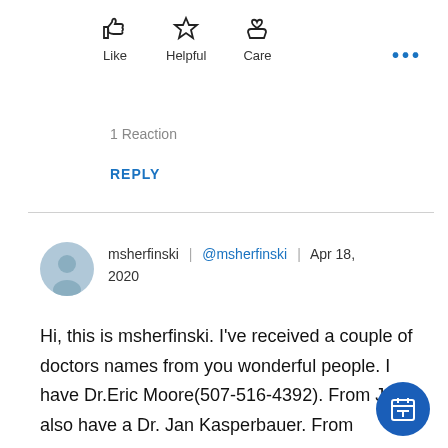[Figure (infographic): Social reaction icons: thumbs up (Like), star (Helpful), hand with heart (Care), and ellipsis menu button]
1 Reaction
REPLY
msherfinski | @msherfinski | Apr 18, 2020
Hi, this is msherfinski. I've received a couple of doctors names from you wonderful people. I have Dr.Eric Moore(507-516-4392). From Jeff. I also have a Dr. Jan Kasperbauer. From Deborahe. My cancer is 21/2 years post radiation. My ENT said it was extensive